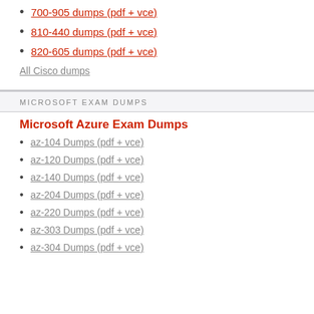700-905 dumps (pdf + vce)
810-440 dumps (pdf + vce)
820-605 dumps (pdf + vce)
All Cisco dumps
MICROSOFT EXAM DUMPS
Microsoft Azure Exam Dumps
az-104 Dumps (pdf + vce)
az-120 Dumps (pdf + vce)
az-140 Dumps (pdf + vce)
az-204 Dumps (pdf + vce)
az-220 Dumps (pdf + vce)
az-303 Dumps (pdf + vce)
az-304 Dumps (pdf + vce)